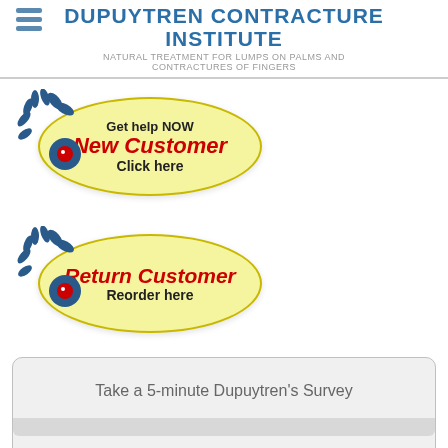DUPUYTREN CONTRACTURE INSTITUTE
NATURAL TREATMENT FOR LUMPS ON PALMS AND CONTRACTURES OF FINGERS
[Figure (illustration): Yellow oval button with flower/bee illustration: Get help NOW / New Customer / Click here]
[Figure (illustration): Yellow oval button with flower/bee illustration: Return Customer / Reorder here]
Take a 5-minute Dupuytren's Survey